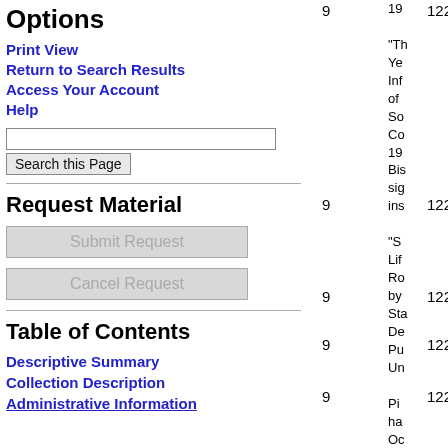Options
Print View
Return to Search Results
Access Your Account
Help
Request Material
Table of Contents
Descriptive Summary
Collection Description
Administrative Information